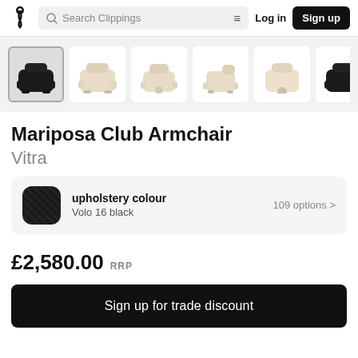Search Clippings  Log in  Sign up
[Figure (photo): Product image thumbnail strip showing Mariposa Club Armchair in various angles and colorways: dark/black (selected), cream/beige front, cream/beige side, cream/beige angled, cream/beige swivel, black version, and partially visible seventh image.]
Mariposa Club Armchair
Vitra
upholstery colour: Volo 16 black  |  109 options
£2,580.00 RRP
Sign up for trade discount